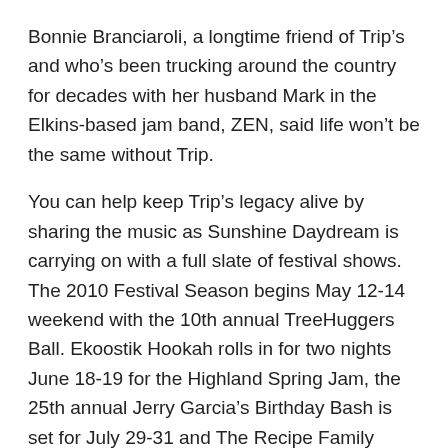Bonnie Branciaroli, a longtime friend of Trip's and who's been trucking around the country for decades with her husband Mark in the Elkins-based jam band, ZEN, said life won't be the same without Trip.
You can help keep Trip's legacy alive by sharing the music as Sunshine Daydream is carrying on with a full slate of festival shows. The 2010 Festival Season begins May 12-14 weekend with the 10th annual TreeHuggers Ball. Ekoostik Hookah rolls in for two nights June 18-19 for the Highland Spring Jam, the 25th annual Jerry Garcia's Birthday Bash is set for July 29-31 and The Recipe Family Cookout is set for Sept. 16-17 and the 10th annual Halloween Masquerade party is set for Oct. 15-16. For more info, go online at www.sunshinedreams.com.
For more information...